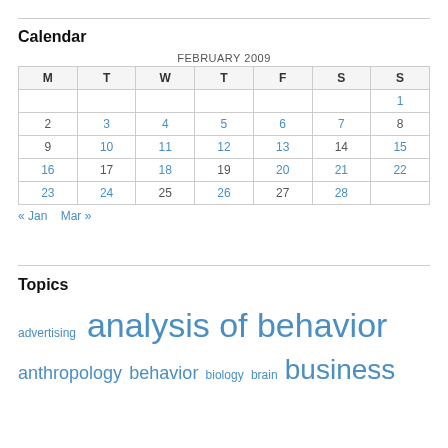Calendar
| M | T | W | T | F | S | S |
| --- | --- | --- | --- | --- | --- | --- |
|  |  |  |  |  |  | 1 |
| 2 | 3 | 4 | 5 | 6 | 7 | 8 |
| 9 | 10 | 11 | 12 | 13 | 14 | 15 |
| 16 | 17 | 18 | 19 | 20 | 21 | 22 |
| 23 | 24 | 25 | 26 | 27 | 28 |  |
« Jan   Mar »
Topics
advertising  analysis of behavior  anthropology  behavior  biology  brain  business